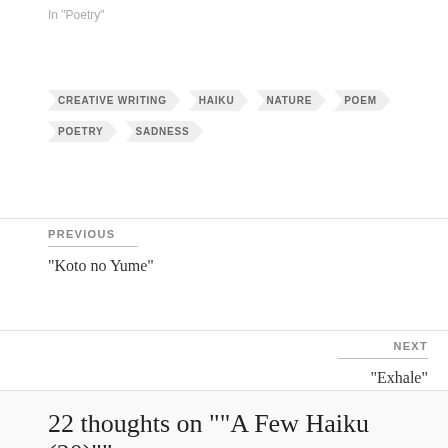In "Poetry"
CREATIVE WRITING
HAIKU
NATURE
POEM
POETRY
SADNESS
PREVIOUS
“Koto no Yume”
NEXT
“Exhale”
22 thoughts on "“A Few Haiku (20)”"